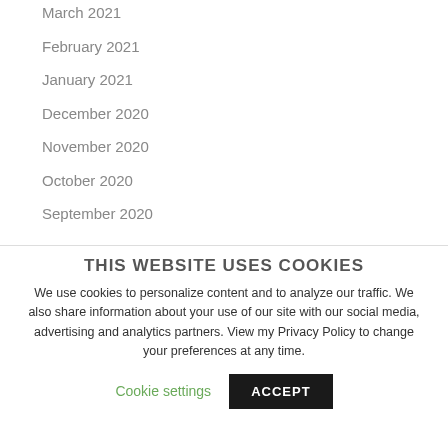March 2021
February 2021
January 2021
December 2020
November 2020
October 2020
September 2020
THIS WEBSITE USES COOKIES
We use cookies to personalize content and to analyze our traffic. We also share information about your use of our site with our social media, advertising and analytics partners. View my Privacy Policy to change your preferences at any time.
Cookie settings
ACCEPT